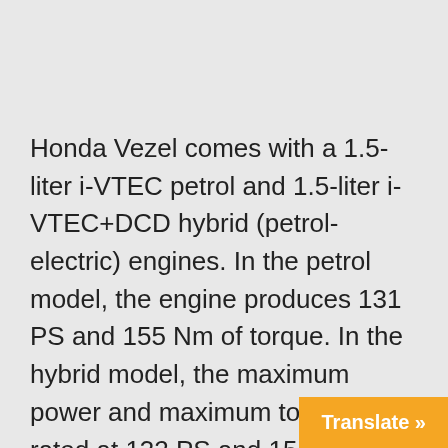Honda Vezel comes with a 1.5-liter i-VTEC petrol and 1.5-liter i-VTEC+DCD hybrid (petrol-electric) engines. In the petrol model, the engine produces 131 PS and 155 Nm of torque. In the hybrid model, the maximum power and maximum torque are rated at 132 PS and 156 Nm respectively. The electric motor generates 29.5 PS and 160 Nm of torque. The fuel economy rating (JC08) of the old Honda Vezel is 20.6 km/l (petrol)/27 km/l (hybrid).